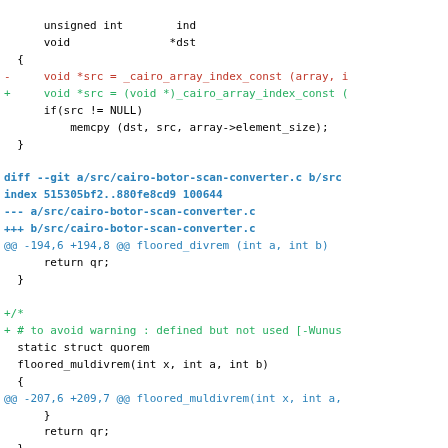Code diff showing changes to cairo source files including cairo-botor-scan-converter.c with additions for floored_divrem and floored_muldivrem functions